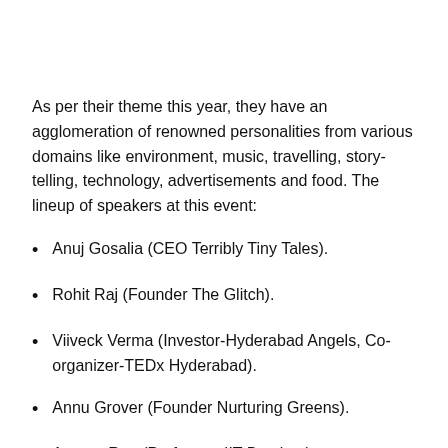As per their theme this year, they have an agglomeration of renowned personalities from various domains like environment, music, travelling, story-telling, technology, advertisements and food. The lineup of speakers at this event:
Anuj Gosalia (CEO Terribly Tiny Tales).
Rohit Raj (Founder The Glitch).
Viiveck Verma (Investor-Hyderabad Angels, Co-organizer-TEDx Hyderabad).
Annu Grover (Founder Nurturing Greens).
Aparna Rao (Professor, IIT Bombay).